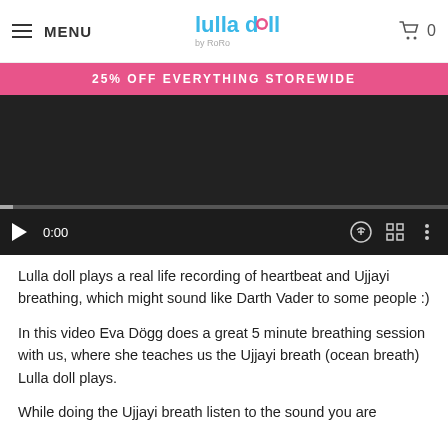MENU | Lulla doll by RoRo | 0
25% OFF EVERYTHING STOREWIDE
[Figure (screenshot): Video player showing a dark screen with playback controls: play button, time display 0:00, progress bar, volume, fullscreen, and more options icons.]
Lulla doll plays a real life recording of heartbeat and Ujjayi breathing, which might sound like Darth Vader to some people :)
In this video Eva Dögg does a great 5 minute breathing session with us, where she teaches us the Ujjayi breath (ocean breath) Lulla doll plays.
While doing the Ujjayi breath listen to the sound you are